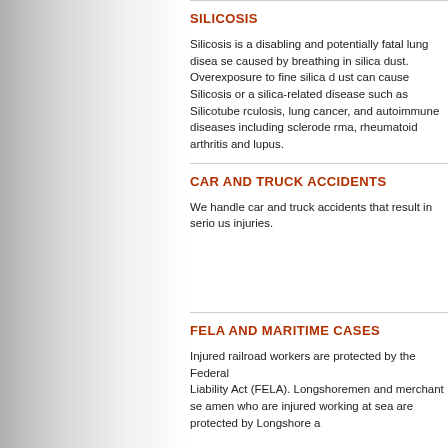SILICOSIS
Silicosis is a disabling and potentially fatal lung disease caused by breathing in silica dust. Overexposure to fine silica dust can cause Silicosis or a silica-related disease such as Silicotuberculosis, lung cancer, and autoimmune diseases including scleroderma, rheumatoid arthritis and lupus.
CAR AND TRUCK ACCIDENTS
We handle car and truck accidents that result in serious injuries.
FELA AND MARITIME CASES
Injured railroad workers are protected by the Federal Employers Liability Act (FELA). Longshoremen and merchant seamen who are injured working at sea are protected by Longshore and